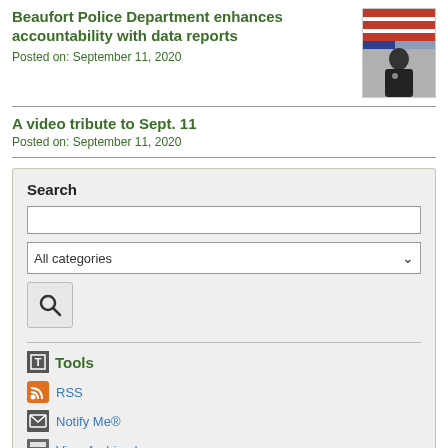Beaufort Police Department enhances accountability with data reports
Posted on: September 11, 2020
[Figure (photo): Photo of a police officer in uniform in front of an American flag]
A video tribute to Sept. 11
Posted on: September 11, 2020
Search
All categories
Tools
RSS
Notify Me®
View Archived
Categories